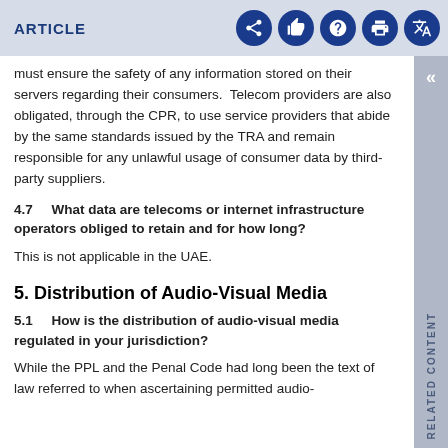ARTICLE
must ensure the safety of any information stored on their servers regarding their consumers. Telecom providers are also obligated, through the CPR, to use service providers that abide by the same standards issued by the TRA and remain responsible for any unlawful usage of consumer data by third-party suppliers.
4.7 What data are telecoms or internet infrastructure operators obliged to retain and for how long?
This is not applicable in the UAE.
5. Distribution of Audio-Visual Media
5.1 How is the distribution of audio-visual media regulated in your jurisdiction?
While the PPL and the Penal Code had long been the text of law referred to when ascertaining permitted audio-